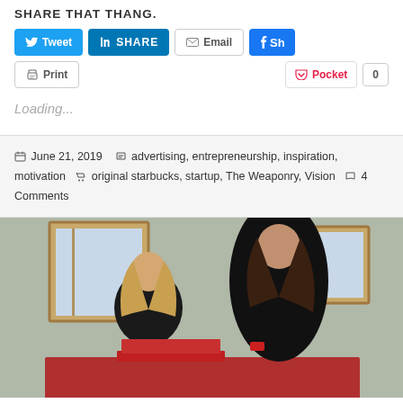SHARE THAT THANG.
[Figure (screenshot): Social share buttons: Tweet (Twitter, blue), SHARE (LinkedIn, blue), Email (grey outline), Share 0 (Facebook, blue), Print (grey outline), Pocket 0]
Loading...
June 21, 2019  advertising, entrepreneurship, inspiration, motivation  original starbucks, startup, The Weaponry, Vision  4 Comments
[Figure (photo): Two women sitting at a red table in an office with wood-framed windows, looking at something together. One has blonde hair and one has dark brown hair, both wearing dark jackets.]